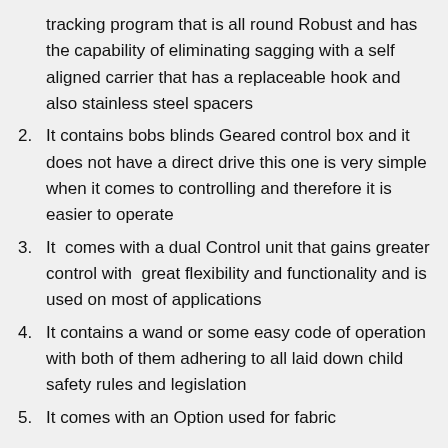(continuation) tracking program that is all round Robust and has the capability of eliminating sagging with a self aligned carrier that has a replaceable hook and also stainless steel spacers
2. It contains bobs blinds Geared control box and it does not have a direct drive this one is very simple when it comes to controlling and therefore it is easier to operate
3. It comes with a dual Control unit that gains greater control with great flexibility and functionality and is used on most of applications
4. It contains a wand or some easy code of operation with both of them adhering to all laid down child safety rules and legislation
5. It comes with an Option used for fabric